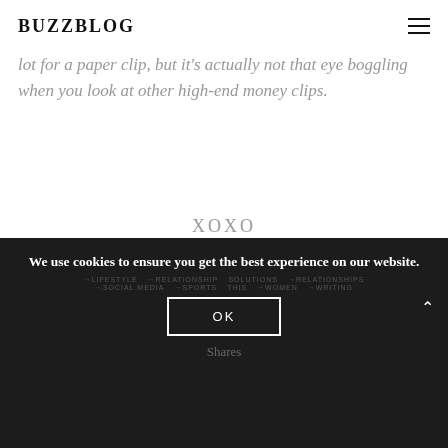BUZZBLOG
lot for a paper clip, but it's actually not that eye boggling when you look at other high-end money clips.
XOXO
[Figure (illustration): A cursive handwritten signature in black ink]
We use cookies to ensure you get the best experience on our website.
→SOCIAL MEDIA  →SPORTS  THIS  →WOMEN  →WRITING  Shares